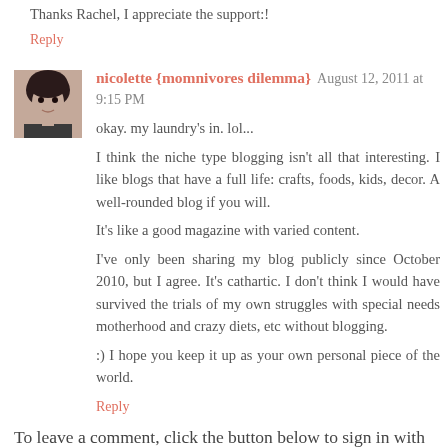Thanks Rachel, I appreciate the support:!
Reply
nicolette {momnivores dilemma}  August 12, 2011 at 9:15 PM
okay. my laundry's in. lol...
I think the niche type blogging isn't all that interesting. I like blogs that have a full life: crafts, foods, kids, decor. A well-rounded blog if you will.
It's like a good magazine with varied content.
I've only been sharing my blog publicly since October 2010, but I agree. It's cathartic. I don't think I would have survived the trials of my own struggles with special needs motherhood and crazy diets, etc without blogging.
:) I hope you keep it up as your own personal piece of the world.
Reply
To leave a comment, click the button below to sign in with